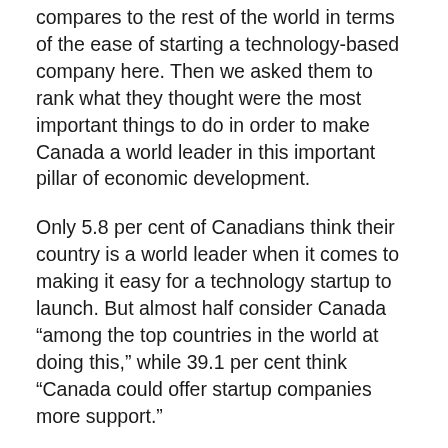compares to the rest of the world in terms of the ease of starting a technology-based company here. Then we asked them to rank what they thought were the most important things to do in order to make Canada a world leader in this important pillar of economic development.
Only 5.8 per cent of Canadians think their country is a world leader when it comes to making it easy for a technology startup to launch. But almost half consider Canada “among the top countries in the world at doing this,” while 39.1 per cent think “Canada could offer startup companies more support.”
Attend Technicity – celebrating technology as an engine of economic growth